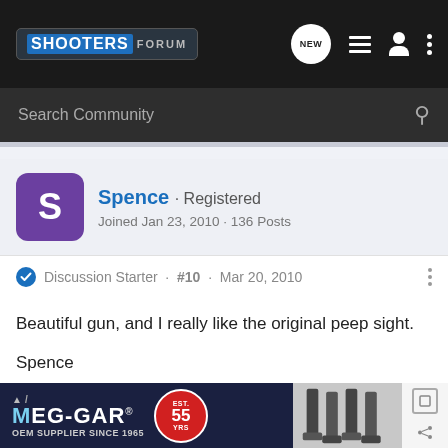SHOOTERS FORUM
Search Community
Spence · Registered
Joined Jan 23, 2010 · 136 Posts
Discussion Starter · #10 · Mar 20, 2010
Beautiful gun, and I really like the original peep sight.

Spence
[Figure (screenshot): MEC-GAR advertisement banner — OEM Supplier Since 1965, Est. 55 Years, showing magazine products]